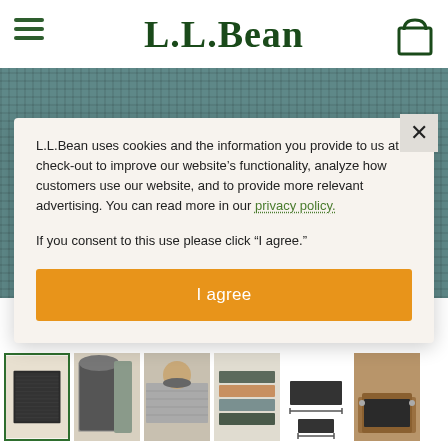L.L.Bean
[Figure (photo): Product image: teal/dark green ribbed door mat or rug, textured weave surface, partially visible behind modal overlay]
L.L.Bean uses cookies and the information you provide to us at check-out to improve our website’s functionality, analyze how customers use our website, and to provide more relevant advertising. You can read more in our privacy policy.

If you consent to this use please click “I agree.”
[Figure (photo): Row of six product thumbnails: 1) dark mat top view (selected/active), 2) rolled mat corner, 3) mat being rolled with hand, 4) color variants stacked, 5) dimension diagram, 6) mat in wooden tray]
I agree